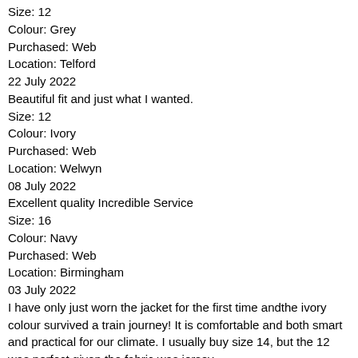Size: 12
Colour: Grey
Purchased: Web
Location: Telford
22 July 2022
Beautiful fit and just what I wanted.
Size: 12
Colour: Ivory
Purchased: Web
Location: Welwyn
08 July 2022
Excellent quality Incredible Service
Size: 16
Colour: Navy
Purchased: Web
Location: Birmingham
03 July 2022
I have only just worn the jacket for the first time andthe ivory colour survived a train journey! It is comfortable and both smart and practical for our climate. I usually buy size 14, but the 12 was perfect given the fabric was jersey.
Size: 12
Colour: Ivory
Purchased: Web
Location: Gillingham
01 July 2022